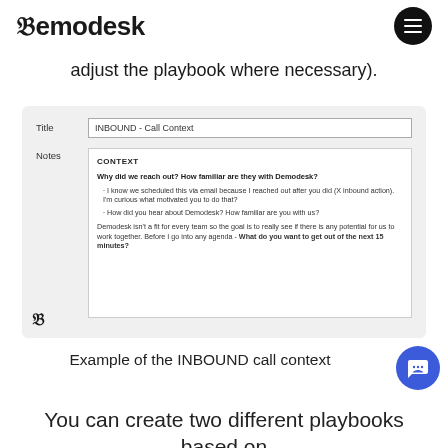Demodesk
adjust the playbook where necessary).
[Figure (screenshot): Demodesk app screenshot showing a playbook form with Title field 'INBOUND - Call Context' and a Notes field containing CONTEXT section with bold question 'Why did we reach out? How familiar are they with Demodesk?' and bullet points about scheduling via email and inbound actions, a second bullet about how they heard about Demodesk, and closing text about Demodesk not being a fit for every team with bold 'What do you want to get out of the next 15 minutes?']
Example of the INBOUND call context
You can create two different playbooks based on